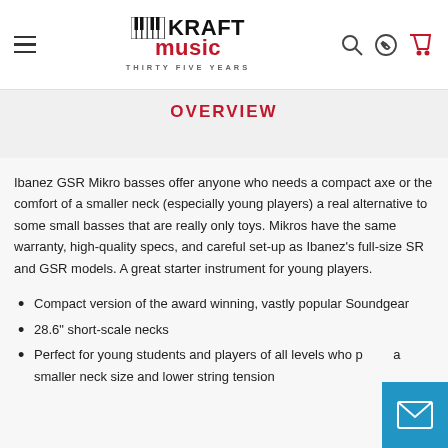Kraft Music — Thirty Five Years
OVERVIEW
Ibanez GSR Mikro basses offer anyone who needs a compact axe or the comfort of a smaller neck (especially young players) a real alternative to some small basses that are really only toys. Mikros have the same warranty, high-quality specs, and careful set-up as Ibanez's full-size SR and GSR models. A great starter instrument for young players.
Compact version of the award winning, vastly popular Soundgear
28.6" short-scale necks
Perfect for young students and players of all levels who prefer a smaller neck size and lower string tension